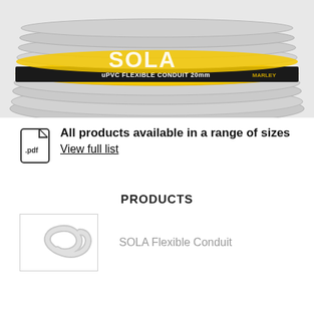[Figure (photo): SOLA uPVC Flexible Conduit 20mm coil with yellow and black label, grey corrugated tubing, Marley branding]
All products available in a range of sizes
View full list
PRODUCTS
[Figure (photo): Small thumbnail of grey flexible conduit coil]
SOLA Flexible Conduit